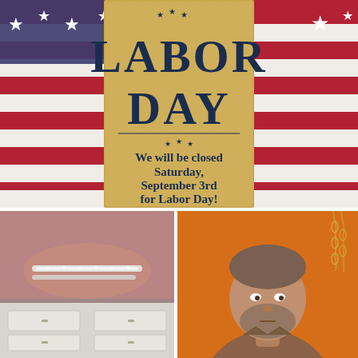[Figure (illustration): Labor Day announcement sign on a parchment/aged paper background, framed by American flag stripes (red, white, blue) with white stars. Text reads 'LABOR DAY' in large serif font, followed by 'We will be closed Saturday, September 3rd for Labor Day!' in bold dark navy font. Stars decorating the parchment sign.]
[Figure (photo): Close-up photo of diamond/crystal bracelets displayed against a pink/mauve fabric background, with white display furniture (drawers) visible below.]
[Figure (photo): Portrait photo of a middle-aged bearded man with a serious expression, standing in front of an orange background with some chain or jewelry visible in the upper right.]